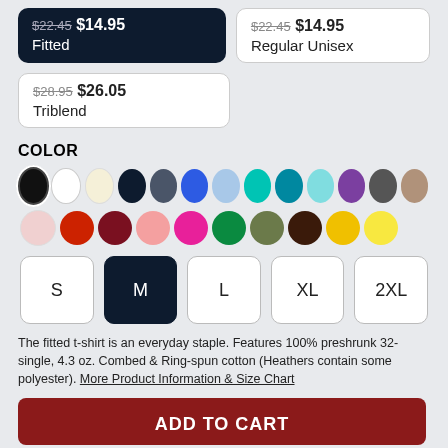$22.45 $14.95 Fitted
$22.45 $14.95 Regular Unisex
$28.95 $26.05 Triblend
COLOR
[Figure (infographic): Color swatches: black (selected), white, cream, navy, slate, royal blue, light blue, teal, dark teal, light cyan, purple, dark gray, tan, light pink, red, dark red, pink, hot pink, green, olive, dark brown, yellow, light yellow]
S M L XL 2XL size buttons with M selected
The fitted t-shirt is an everyday staple. Features 100% preshrunk 32-single, 4.3 oz. Combed & Ring-spun cotton (Heathers contain some polyester). More Product Information & Size Chart
ADD TO CART